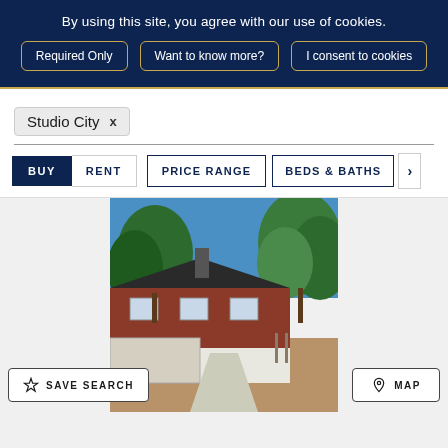By using this site, you agree with our use of cookies.
Required Only | Want to know more? | I consent to cookies
Studio City x
BUY  RENT  PRICE RANGE  BEDS & BATHS  >
[Figure (photo): Exterior photo of a single-story residential home with red/brown siding and white lower trim, surrounded by trees under a blue sky with a concrete walkway]
☆ SAVE SEARCH
⊙ MAP